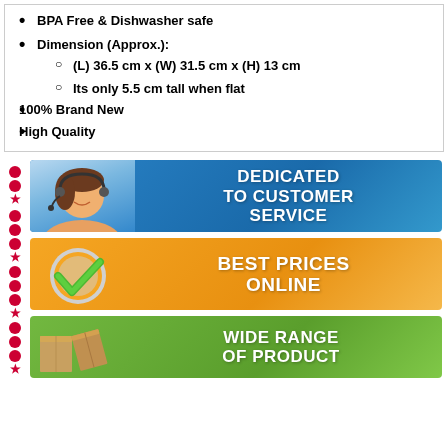BPA Free & Dishwasher safe
Dimension (Approx.):
(L) 36.5 cm x (W) 31.5 cm x (H) 13 cm
Its only 5.5 cm tall when flat
100% Brand New
High Quality
[Figure (infographic): Decorative red and pink dot/star stripe on the left side of the page]
[Figure (infographic): Banner with customer service agent headshot on blue background reading DEDICATED TO CUSTOMER SERVICE]
[Figure (infographic): Banner with green checkmark on orange background reading BEST PRICES ONLINE]
[Figure (infographic): Banner with stacked boxes on green background reading WIDE RANGE OF PRODUCT]